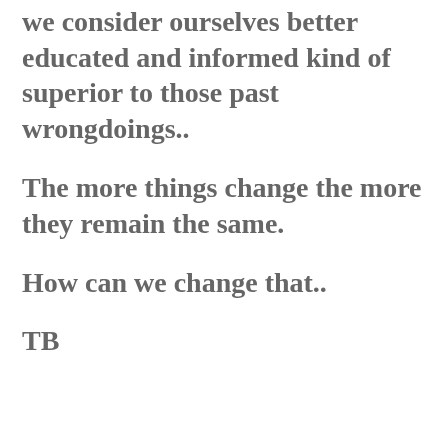we consider ourselves better educated and informed kind of superior to those past wrongdoings..
The more things change the more they remain the same.
How can we change that..
TB